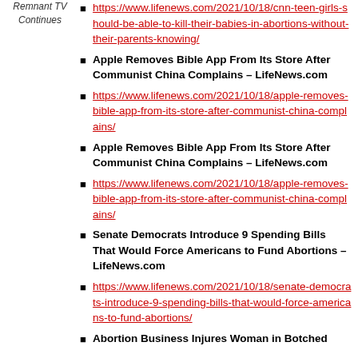Remnant TV Continues
https://www.lifenews.com/2021/10/18/cnn-teen-girls-should-be-able-to-kill-their-babies-in-abortions-without-their-parents-knowing/
Apple Removes Bible App From Its Store After Communist China Complains – LifeNews.com
https://www.lifenews.com/2021/10/18/apple-removes-bible-app-from-its-store-after-communist-china-complains/
Apple Removes Bible App From Its Store After Communist China Complains – LifeNews.com
https://www.lifenews.com/2021/10/18/apple-removes-bible-app-from-its-store-after-communist-china-complains/
Senate Democrats Introduce 9 Spending Bills That Would Force Americans to Fund Abortions – LifeNews.com
https://www.lifenews.com/2021/10/18/senate-democrats-introduce-9-spending-bills-that-would-force-americans-to-fund-abortions/
Abortion Business Injures Woman in Botched